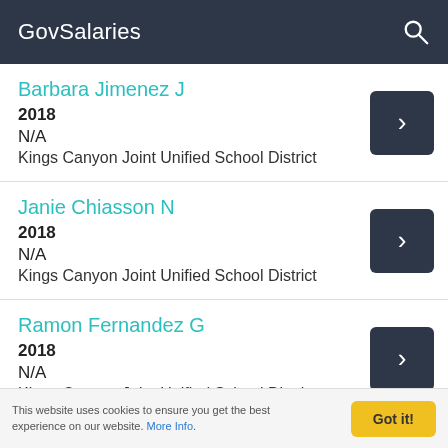GovSalaries
Barbara Jimenez J
2018
N/A
Kings Canyon Joint Unified School District
Janie Chiasson N
2018
N/A
Kings Canyon Joint Unified School District
Ramon Fernandez G
2018
N/A
Kings Canyon Joint Unified School District
This website uses cookies to ensure you get the best experience on our website. More Info.